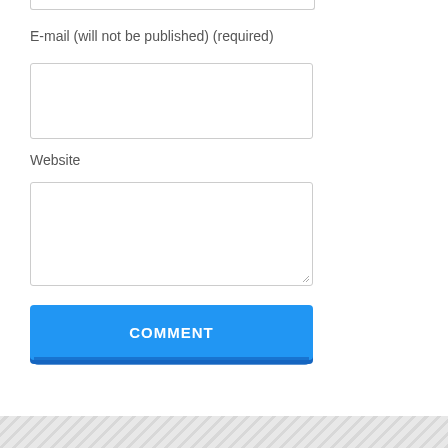E-mail (will not be published) (required)
[Figure (screenshot): Empty email input text field with light border]
Website
[Figure (screenshot): Empty website textarea input field with resize handle]
[Figure (screenshot): Blue COMMENT submit button with drop shadow]